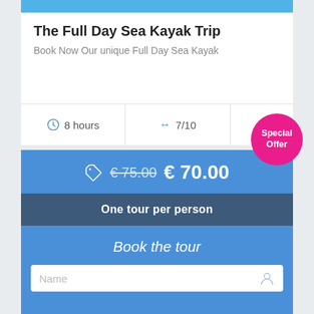[Figure (photo): Top portion of a sea kayak trip image, cropped]
The Full Day Sea Kayak Trip
Book Now Our unique Full Day Sea Kayak
8 hours
7/10
Special Offer
€ 75.00 € 70.00
One tour per person
Book the tour
Name